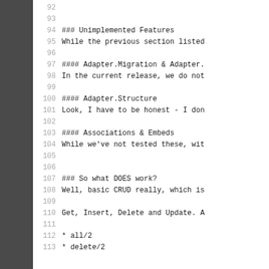92
93
94    ### Unimplemented Features
95    While the previous section listed
96
97    #### Adapter.Migration & Adapter.
98    In the current release, we do not
99
100   #### Adapter.Structure
101   Look, I have to be honest - I don
102
103   #### Associations & Embeds
104   While we've not tested these, wit
105
106
107   ### So what DOES work?
108   Well, basic CRUD really, which is
109
110   Get, Insert, Delete and Update. A
111
112   * all/2
113   * delete/2